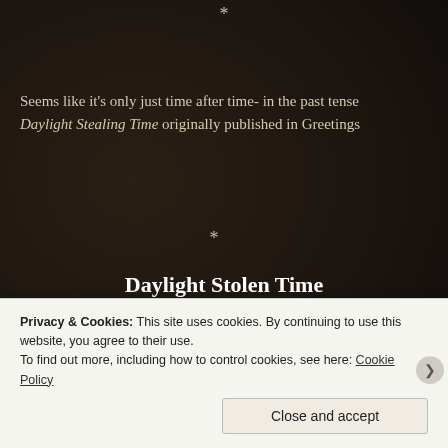*
Seems like it's only just time after time- in the past tense Daylight Stealing Time originally published in Greetings
*
Daylight Stolen Time
[Figure (photo): Collection of antique pocket watches and clock faces scattered together, golden and brass tones]
Privacy & Cookies: This site uses cookies. By continuing to use this website, you agree to their use.
To find out more, including how to control cookies, see here: Cookie Policy
Close and accept